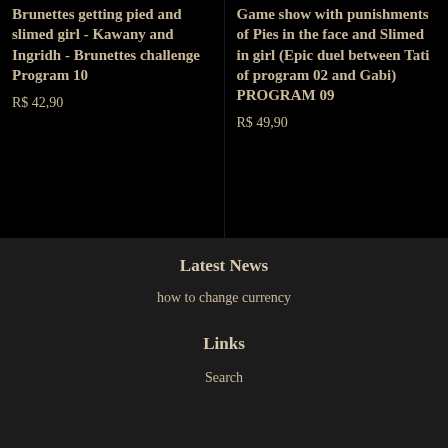Brunettes getting pied and slimed girl - Kawany and Ingridh - Brunettes challenge Program 10
R$ 42,90
Game show with punishments of Pies in the face and Slimed in girl (Epic duel between Tati of program 02 and Gabi) PROGRAM 09
R$ 49,90
Latest News
how to change currency
Links
Search